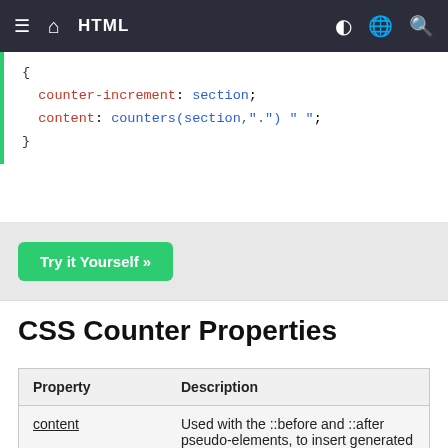HTML
{
  counter-increment: section;
  content: counters(section,".") " ";
}
Try it Yourself »
CSS Counter Properties
| Property | Description |
| --- | --- |
| content | Used with the ::before and ::after pseudo-elements, to insert generated content |
| counter-increment | Increments one or more counter values |